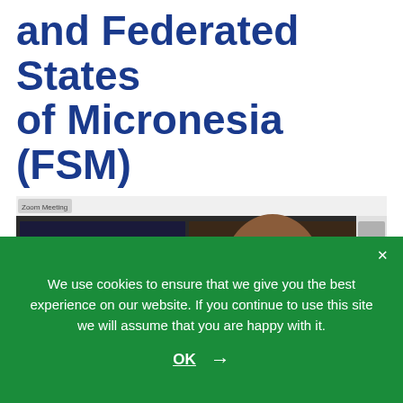and Federated States of Micronesia (FSM)
[Figure (screenshot): Screenshot of a Zoom video meeting showing multiple participants in a grid view. Top-left tile shows a group of people in a room with colorful balloons. Top-right tile shows a man with glasses smiling. Bottom tiles show partial views of other participants. A participant sidebar is visible on the right.]
We use cookies to ensure that we give you the best experience on our website. If you continue to use this site we will assume that you are happy with it.
OK →